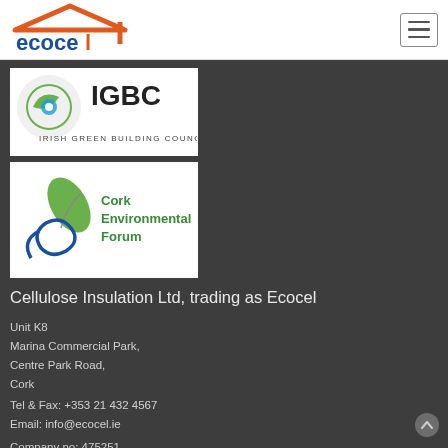[Figure (logo): Ecocel company logo with orange roof shape and blue text]
[Figure (logo): IGBC Irish Green Building Council logo]
[Figure (logo): Cork Environmental Forum logo with green leaf and blue spiral]
Cellulose Insulation Ltd, trading as Ecocel
Unit K8
Marina Commercial Park,
Centre Park Road,
Cork
Tel & Fax: +353 21 432 4567
Email: info@ecocel.ie
Company no: 475251
Vat no: IE 9718550R
Director: John Egan